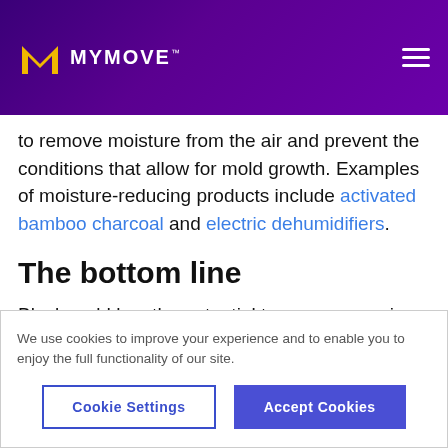MYMOVE
to remove moisture from the air and prevent the conditions that allow for mold growth. Examples of moisture-reducing products include activated bamboo charcoal and electric dehumidifiers.
The bottom line
Black mold has the potential to cause annoying
We use cookies to improve your experience and to enable you to enjoy the full functionality of our site.
Cookie Settings
Accept Cookies